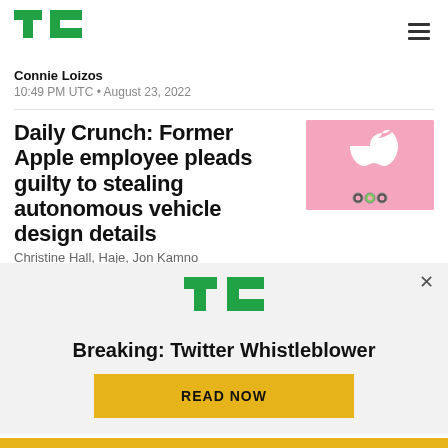TechCrunch logo and navigation
Connie Loizos
10:49 PM UTC • August 23, 2022
Daily Crunch: Former Apple employee pleads guilty to stealing autonomous vehicle design details
[Figure (illustration): Pink background with white Apple logo and cartoon character]
Christine Hall, Haje, Jon Kamno
[Figure (logo): TechCrunch TC logo in green]
Breaking: Twitter Whistleblower
READ NOW